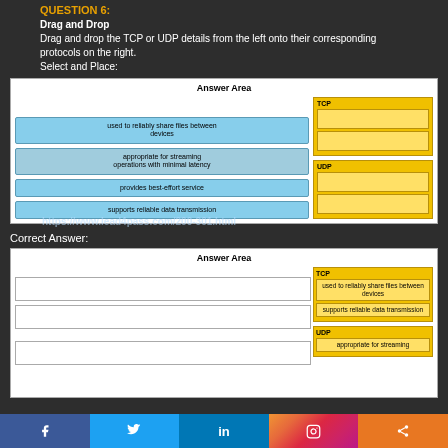QUESTION 6:
Drag and Drop
Drag and drop the TCP or UDP details from the left onto their corresponding protocols on the right.
Select and Place:
[Figure (infographic): Answer Area drag-and-drop exercise with blue option boxes on left (used to reliably share files between devices, appropriate for streaming operations with minimal latency, provides best-effort service, supports reliable data transmission) and yellow TCP/UDP sections on right with empty answer slots. Watermark: https://www.lead4pass.com/200-301.html]
Correct Answer:
[Figure (infographic): Correct Answer Area showing TCP section with 'used to reliably share files between devices' and 'supports reliable data transmission' slots filled, UDP section with 'appropriate for streaming' slot filled. Left side shows empty slots. Watermark: https://www.lead4pass.com/200-301.html]